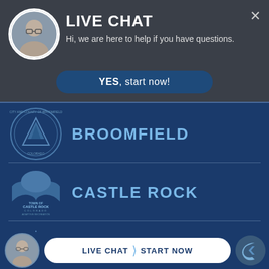LIVE CHAT
Hi, we are here to help if you have questions.
YES, start now!
BROOMFIELD
CASTLE ROCK
COLORADO SPRINGS
LIVE CHAT › START NOW